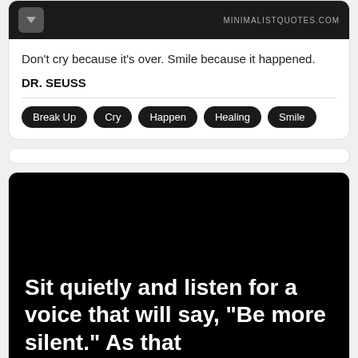[Figure (illustration): Dark image header with a download button icon on the left and 'MINIMALISTQUOTES.COM' text on the right]
Don't cry because it's over. Smile because it happened.
DR. SEUSS
Break Up
Cry
Happen
Healing
Smile
[Figure (illustration): Black background image with large white bold text: 'Sit quietly and listen for a voice that will say, "Be more silent." As that']